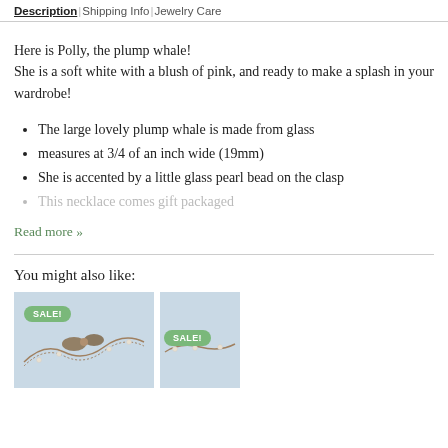Description | Shipping Info | Jewelry Care
Here is Polly, the plump whale!
She is a soft white with a blush of pink, and ready to make a splash in your wardrobe!
The large lovely plump whale is made from glass
measures at 3/4 of an inch wide (19mm)
She is accented by a little glass pearl bead on the clasp
This necklace comes gift packaged
Read more »
You might also like:
[Figure (photo): Product photo showing jewelry necklace with SALE badge]
[Figure (photo): Partial product photo with SALE badge]